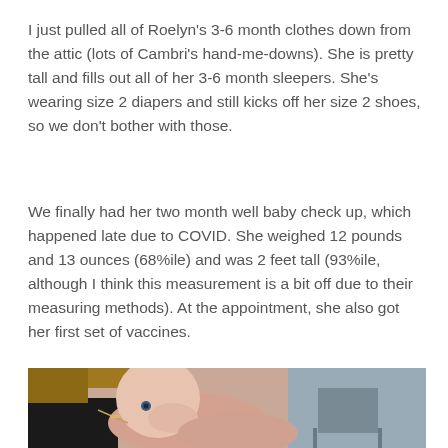I just pulled all of Roelyn's 3-6 month clothes down from the attic (lots of Cambri's hand-me-downs). She is pretty tall and fills out all of her 3-6 month sleepers. She's wearing size 2 diapers and still kicks off her size 2 shoes, so we don't bother with those.
We finally had her two month well baby check up, which happened late due to COVID. She weighed 12 pounds and 13 ounces (68%ile) and was 2 feet tall (93%ile, although I think this measurement is a bit off due to their measuring methods). At the appointment, she also got her first set of vaccines.
[Figure (photo): Photo of a mother holding a baby, taken at what appears to be a medical office. The mother is wearing a black top and a necklace, and the baby is visible with blue eyes looking at the camera. A grey chair is visible in the background.]